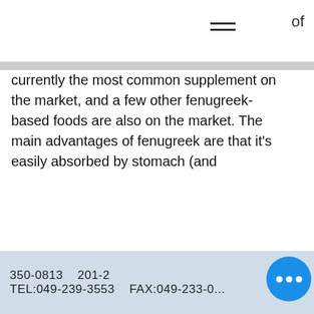of
currently the most common supplement on the market, and a few other fenugreek-based foods are also on the market. The main advantages of fenugreek are that it's easily absorbed by stomach (and
Related Article:
https://www.kcm.technology/profile/darrylbouldin52887/profile
https://www.n30pesquisas.com/profile/sondramozingo172630/profile
https://www.farmerschristianacademy.com/profile/arronmurrietta112792/profile
https://www.pattycakenannies.com/profile/dwaynemccleve79321/profile
350-0813   201-2
TEL:049-239-3553   FAX:049-233-0...